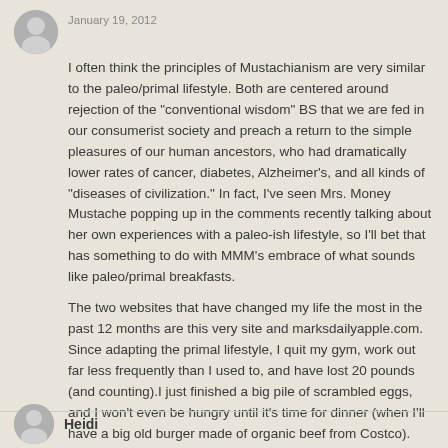January 19, 2012
I often think the principles of Mustachianism are very similar to the paleo/primal lifestyle. Both are centered around rejection of the "conventional wisdom" BS that we are fed in our consumerist society and preach a return to the simple pleasures of our human ancestors, who had dramatically lower rates of cancer, diabetes, Alzheimer's, and all kinds of "diseases of civilization." In fact, I've seen Mrs. Money Mustache popping up in the comments recently talking about her own experiences with a paleo-ish lifestyle, so I'll bet that has something to do with MMM's embrace of what sounds like paleo/primal breakfasts.
The two websites that have changed my life the most in the past 12 months are this very site and marksdailyapple.com. Since adapting the primal lifestyle, I quit my gym, work out far less frequently than I used to, and have lost 20 pounds (and counting).I just finished a big pile of scrambled eggs, and I won't even be hungry until it's time for dinner (when I'll have a big old burger made of organic beef from Costco).
Reply
Heidi